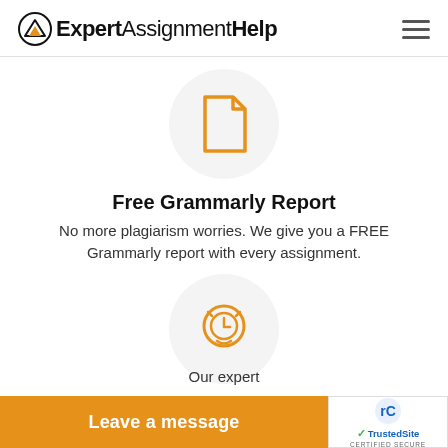ExpertAssignmentHelp
[Figure (illustration): Orange document/file icon inside a light gray circle]
Free Grammarly Report
No more plagiarism worries. We give you a FREE Grammarly report with every assignment.
[Figure (illustration): Orange alarm clock icon inside a light gray circle]
Delivery Before Deadline
Our experts deliver before y
[Figure (other): Orange 'Leave a message' button bar at bottom]
[Figure (logo): TrustedSite Certified Secure badge with reCAPTCHA logo]